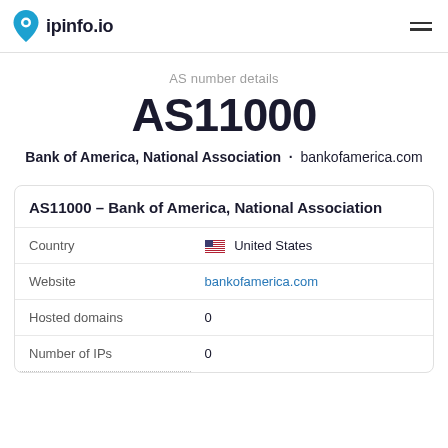ipinfo.io
AS number details
AS11000
Bank of America, National Association · bankofamerica.com
AS11000 – Bank of America, National Association
|  |  |
| --- | --- |
| Country | United States |
| Website | bankofamerica.com |
| Hosted domains | 0 |
| Number of IPs | 0 |